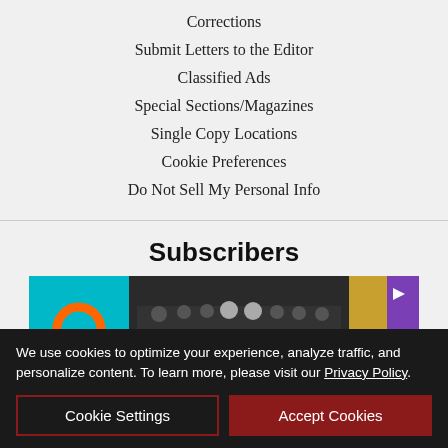Corrections
Submit Letters to the Editor
Classified Ads
Special Sections/Magazines
Single Copy Locations
Cookie Preferences
Do Not Sell My Personal Info
Subscribers
[Figure (photo): Advertisement banner for Chicago the Band 55 Years at LBC, dated 9.9.22 with Buy tickets button]
We use cookies to optimize your experience, analyze traffic, and personalize content. To learn more, please visit our Privacy Policy.
Cookie Settings | Accept Cookies